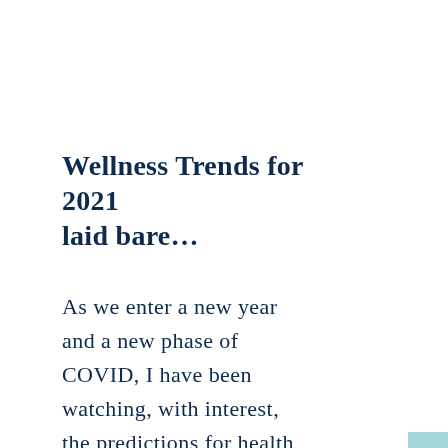Wellness Trends for 2021 laid bare…
As we enter a new year and a new phase of COVID, I have been watching, with interest, the predictions for health and wellness in this coming year which, given…